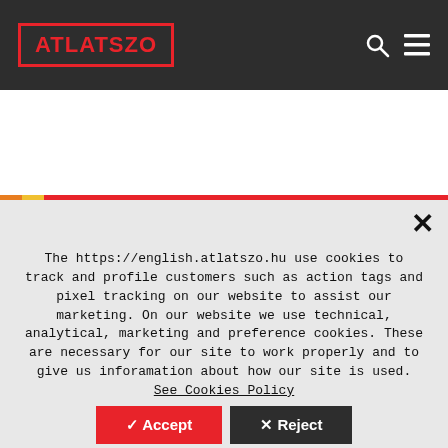ATLATSZO
Subscribe
The https://english.atlatszo.hu use cookies to track and profile customers such as action tags and pixel tracking on our website to assist our marketing. On our website we use technical, analytical, marketing and preference cookies. These are necessary for our site to work properly and to give us inforamation about how our site is used. See Cookies Policy
✓ Accept  ✗ Reject